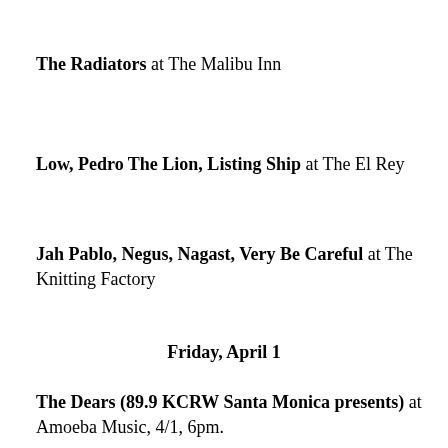The Radiators at The Malibu Inn
Low, Pedro The Lion, Listing Ship at The El Rey
Jah Pablo, Negus, Nagast, Very Be Careful at The Knitting Factory
Friday, April 1
The Dears (89.9 KCRW Santa Monica presents) at Amoeba Music, 4/1, 6pm.